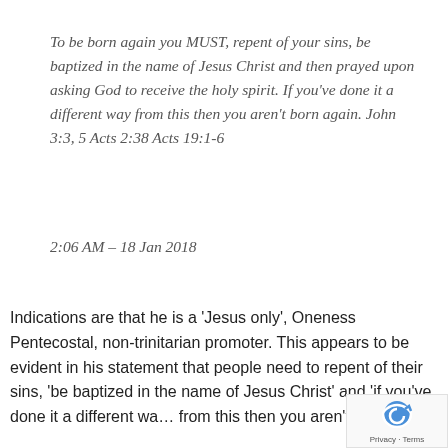To be born again you MUST, repent of your sins, be baptized in the name of Jesus Christ and then prayed upon asking God to receive the holy spirit. If you've done it a different way from this then you aren't born again. John 3:3, 5 Acts 2:38 Acts 19:1-6
2:06 AM – 18 Jan 2018
Indications are that he is a 'Jesus only', Oneness Pentecostal, non-trinitarian promoter. This appears to be evident in his statement that people need to repent of their sins, 'be baptized in the name of Jesus Christ' and 'if you've done it a different way from this then you aren't born again'.
[Figure (logo): reCAPTCHA badge with Privacy and Terms links]